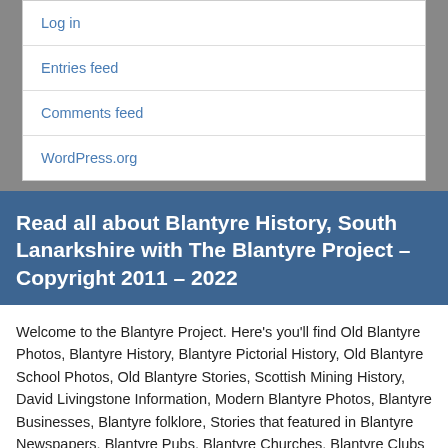Log in
Entries feed
Comments feed
WordPress.org
Read all about Blantyre History, South Lanarkshire with The Blantyre Project – Copyright 2011 – 2022
Welcome to the Blantyre Project. Here’s you’ll find Old Blantyre Photos, Blantyre History, Blantyre Pictorial History, Old Blantyre School Photos, Old Blantyre Stories, Scottish Mining History, David Livingstone Information, Modern Blantyre Photos, Blantyre Businesses, Blantyre folklore, Stories that featured in Blantyre Newspapers, Blantyre Pubs, Blantyre Churches, Blantyre Clubs & Organisations, Blantyre Charities, Blantyre Wedding Venues, Blantyre Houses, Blantyre People, Blantyre Music & Groups, Things to do in Blantyre, Blantyre Ancestry & Tracing your Blantyre Roots, Blantyre News, Blantyre’s Parks, What’s on in Blantyre and much more!